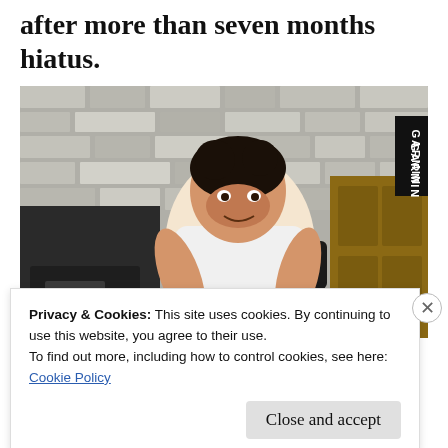after more than seven months hiatus.
[Figure (photo): A man in a white sleeveless shirt running on a treadmill, wearing a smartwatch and an arm band on his upper arm. A Garmin logo badge is visible in the top-right corner of the image. The background shows a stone/tile wall.]
Privacy & Cookies: This site uses cookies. By continuing to use this website, you agree to their use.
To find out more, including how to control cookies, see here:
Cookie Policy
Close and accept